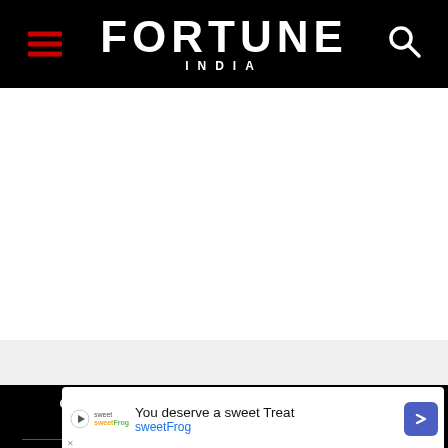FORTUNE INDIA
[Figure (screenshot): White content area (blank page content region)]
Contact Us   Vision & Core Values   Terms of Use   Privacy & Cookie Policy
[Figure (other): Advertisement banner: sweetFrog - You deserve a sweet Treat]